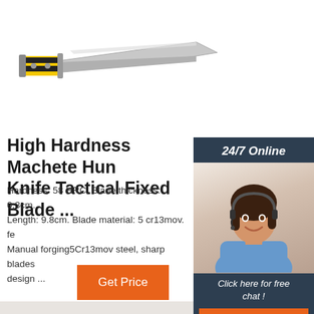[Figure (photo): Product photo of a machete/tactical knife with yellow and black handle, silver blade, shown at an angle against white background]
High Hardness Machete Hunting Knife Tactical Fixed Blade ...
Hardness: 58 HRC. Blade thickness: 0.3cm. Length: 9.8cm. Blade material: 5 cr13mov. fe Manual forging5Cr13mov steel, sharp blades design ...
[Figure (photo): Customer service agent (woman with headset) with 24/7 Online banner, Click here for free chat text, and QUOTATION button]
Get Price
[Figure (logo): TOP icon with orange dots arranged in triangle above the word TOP in orange text]